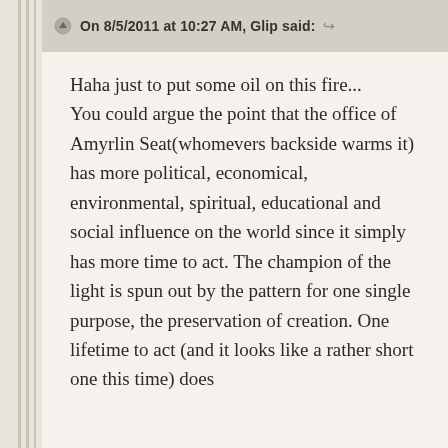On 8/5/2011 at 10:27 AM, Glip said:
Haha just to put some oil on this fire...
You could argue the point that the office of Amyrlin Seat(whomevers backside warms it) has more political, economical, environmental, spiritual, educational and social influence on the world since it simply has more time to act. The champion of the light is spun out by the pattern for one single purpose, the preservation of creation. One lifetime to act (and it looks like a rather short one this time) does